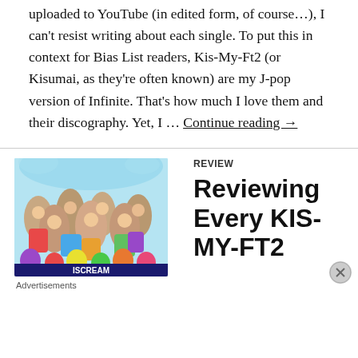uploaded to YouTube (in edited form, of course…), I can't resist writing about each single. To put this in context for Bias List readers, Kis-My-Ft2 (or Kisumai, as they're often known) are my J-pop version of Infinite. That's how much I love them and their discography. Yet, I … Continue reading →
[Figure (photo): Album cover photo showing KIS-MY-FT2 group members with surprised/excited expressions, colorful balloons at the bottom, and 'ISCREAM' text banner. Blue/aqua background with splashing water effects.]
Advertisements
REVIEW
Reviewing Every KIS-MY-FT2